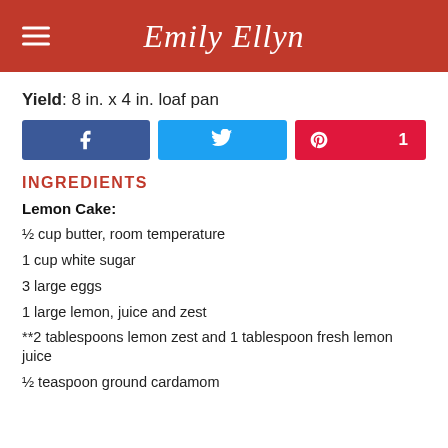Emily Ellyn
Yield: 8 in. x 4 in. loaf pan
[Figure (other): Social share buttons: Facebook, Twitter, Pinterest (count: 1)]
INGREDIENTS
Lemon Cake:
½ cup butter, room temperature
1 cup white sugar
3 large eggs
1 large lemon, juice and zest
**2 tablespoons lemon zest and 1 tablespoon fresh lemon juice
½ teaspoon ground cardamom